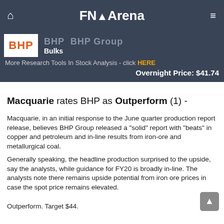FNArena
[Figure (logo): BHP logo in orange text on white background, within a dark grey banner showing 'Bulks' category and overnight price]
More Research Tools In Stock Analysis - click HERE
Overnight Price: $41.74
Macquarie rates BHP as Outperform (1) -
Macquarie, in an initial response to the June quarter production report release, believes BHP Group released a "solid" report with "beats" in copper and petroleum and in-line results from iron-ore and metallurgical coal.
Generally speaking, the headline production surprised to the upside, say the analysts, while guidance for FY20 is broadly in-line. The analysts note there remains upside potential from iron ore prices in case the spot price remains elevated.
Outperform. Target $44.
Target price is $44.00 Current Price is $41.74 Difference: $2.26 If BHP meets the Macquarie target it will return approximately 5% (excluding dividends, fees and charges).
Current consensus price target is $41.04, suggesting downside of